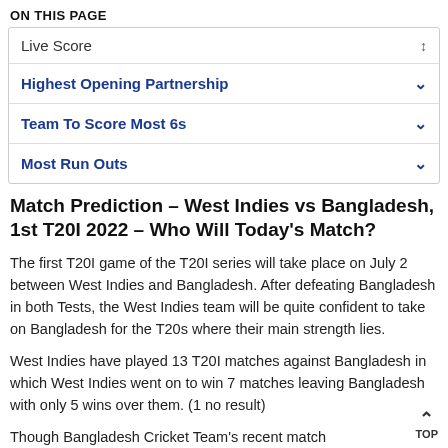ON THIS PAGE
Live Score
Highest Opening Partnership
Team To Score Most 6s
Most Run Outs
Match Prediction – West Indies vs Bangladesh, 1st T20I 2022 – Who Will Today's Match?
The first T20I game of the T20I series will take place on July 2 between West Indies and Bangladesh. After defeating Bangladesh in both Tests, the West Indies team will be quite confident to take on Bangladesh for the T20s where their main strength lies.
West Indies have played 13 T20I matches against Bangladesh in which West Indies went on to win 7 matches leaving Bangladesh with only 5 wins over them. (1 no result)
Though Bangladesh Cricket Team's recent match